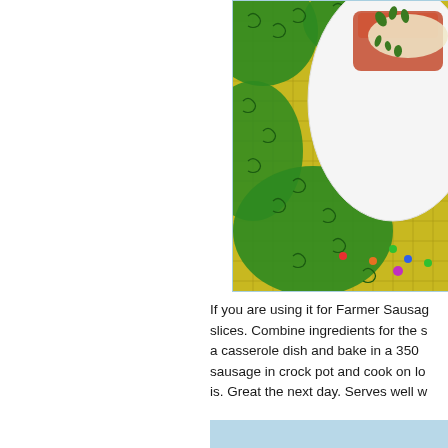[Figure (photo): A white plate with food (casserole/sausage dish with herbs on top) placed on a green and yellow patchwork fabric with swirl patterns and colored dots]
If you are using it for Farmer Sausage slices. Combine ingredients for the s a casserole dish and bake in a 350 sausage in crock pot and cook on lo is. Great the next day. Serves well w